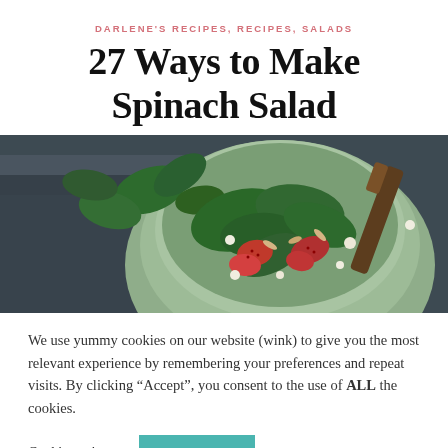DARLENE'S RECIPES, RECIPES, SALADS
27 Ways to Make Spinach Salad
[Figure (photo): A bowl of spinach salad with strawberries, feta cheese, and a wooden spoon, set on a dark stone surface with loose spinach leaves around it.]
We use yummy cookies on our website (wink) to give you the most relevant experience by remembering your preferences and repeat visits. By clicking “Accept”, you consent to the use of ALL the cookies.
Cookie settings   ACCEPT